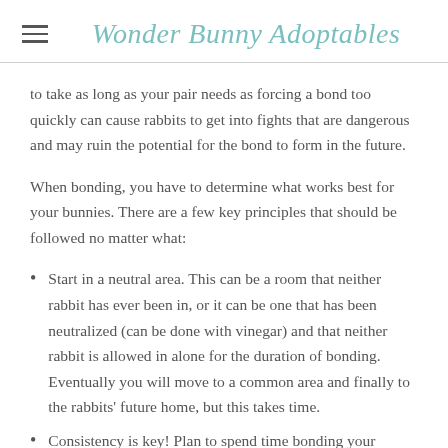Wonder Bunny Adoptables
to take as long as your pair needs as forcing a bond too quickly can cause rabbits to get into fights that are dangerous and may ruin the potential for the bond to form in the future.
When bonding, you have to determine what works best for your bunnies. There are a few key principles that should be followed no matter what:
Start in a neutral area. This can be a room that neither rabbit has ever been in, or it can be one that has been neutralized (can be done with vinegar) and that neither rabbit is allowed in alone for the duration of bonding. Eventually you will move to a common area and finally to the rabbits' future home, but this takes time.
Consistency is key! Plan to spend time bonding your rabbits each day. At the beginning, this may be for just 5 minutes, but should increase as your rabbits form their bond. Making sure your rabbits have contact each day…